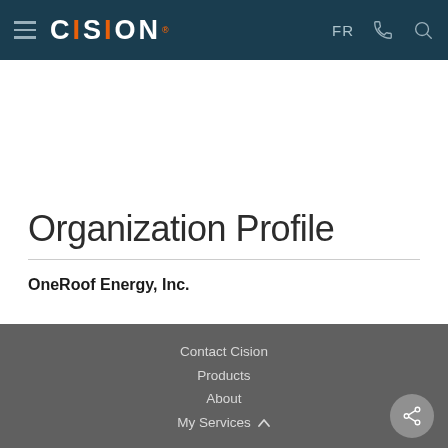CISION — FR
Organization Profile
OneRoof Energy, Inc.
Contact Cision
Products
About
My Services
877-269-7890